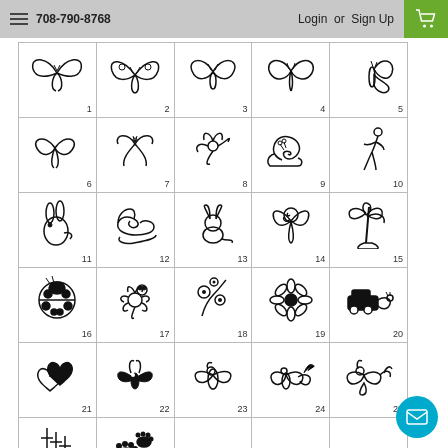708-790-8768  Login or Sign Up
[Figure (illustration): Grid of 30 numbered clipart symbols including butterflies (1-8), snail (9), figure (10), rabbit (11), swan (12), cat (13), eagle (14), palm tree (15), ladybug (16), flowers (17-19), car with dog (20), hearts (21), birds (22-25), crosses (26), paw prints (27), empty cells 28-30]
Chat button